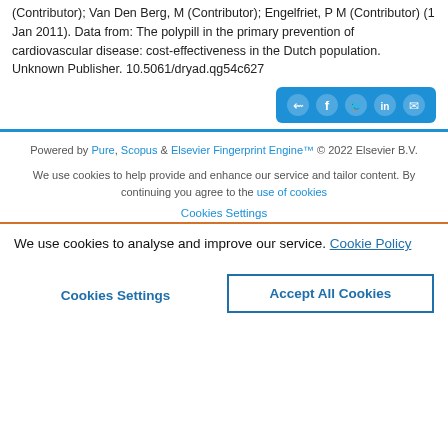(Contributor); Van Den Berg, M (Contributor); Engelfriet, P M (Contributor) (1 Jan 2011). Data from: The polypill in the primary prevention of cardiovascular disease: cost-effectiveness in the Dutch population. Unknown Publisher. 10.5061/dryad.qg54c627
[Figure (other): Social share buttons bar with blue background: share, Facebook, Twitter, LinkedIn, email icons]
Powered by Pure, Scopus & Elsevier Fingerprint Engine™ © 2022 Elsevier B.V.
We use cookies to help provide and enhance our service and tailor content. By continuing you agree to the use of cookies
Cookies Settings
We use cookies to analyse and improve our service. Cookie Policy
Cookies Settings
Accept All Cookies